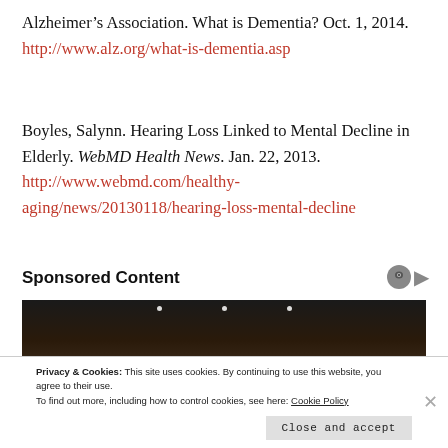Alzheimer's Association. What is Dementia? Oct. 1, 2014. http://www.alz.org/what-is-dementia.asp
Boyles, Salynn. Hearing Loss Linked to Mental Decline in Elderly. WebMD Health News. Jan. 22, 2013. http://www.webmd.com/healthy-aging/news/20130118/hearing-loss-mental-decline
Sponsored Content
[Figure (photo): Dark advertisement image with small lights visible at top]
Privacy & Cookies: This site uses cookies. By continuing to use this website, you agree to their use. To find out more, including how to control cookies, see here: Cookie Policy
Close and accept